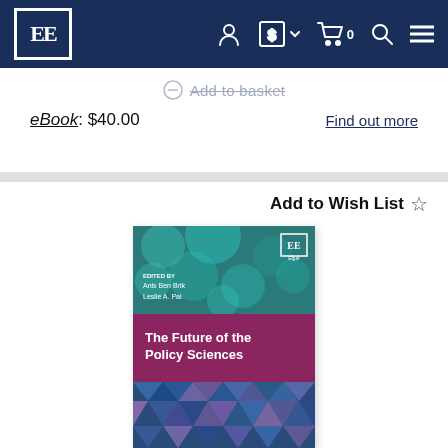EE [logo] navigation bar with user, currency ($), cart (0), search, and menu icons
Add to basket
eBook: $40.00
Find out more
Add to Wish List ☆
[Figure (photo): Book cover for 'The Future of the Policy Sciences', edited by Anis Ben Brik and Leslie A. Pal, published by Edward Elgar. Cover features geometric blue/purple diamond pattern on lower half and teal bokeh circles on upper half, with a magenta/purple band across the middle containing the title in white text.]